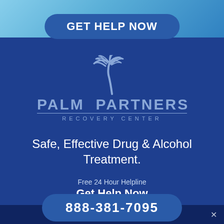GET HELP NOW
[Figure (logo): Palm Partners Recovery Center logo with palm tree icon above text]
Safe, Effective Drug & Alcohol Treatment.
Free 24 Hour Helpline
Get Help Now
888-381-7095
Share This  Who Answers?